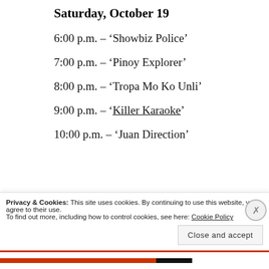Saturday, October 19
6:00 p.m. – ‘Showbiz Police’
7:00 p.m. – ‘Pinoy Explorer’
8:00 p.m. – ‘Tropa Mo Ko Unli’
9:00 p.m. – ‘Killer Karaoke’
10:00 p.m. – ‘Juan Direction’
Privacy & Cookies: This site uses cookies. By continuing to use this website, you agree to their use.
To find out more, including how to control cookies, see here: Cookie Policy
Close and accept